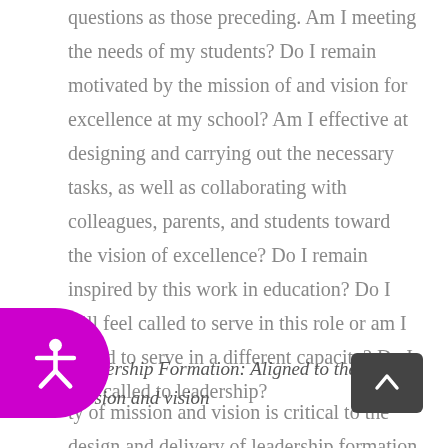questions as those preceding. Am I meeting the needs of my students? Do I remain motivated by the mission of and vision for excellence at my school? Am I effective at designing and carrying out the necessary tasks, as well as collaborating with colleagues, parents, and students toward the vision of excellence? Do I remain inspired by this work in education? Do I still feel called to serve in this role or am I called to serve in a different capacity? Do I feel called to leadership?
Leadership Formation: Aligned to the mission and vision
ty of mission and vision is critical to the design and delivery of leadership formation programs. Once hired,